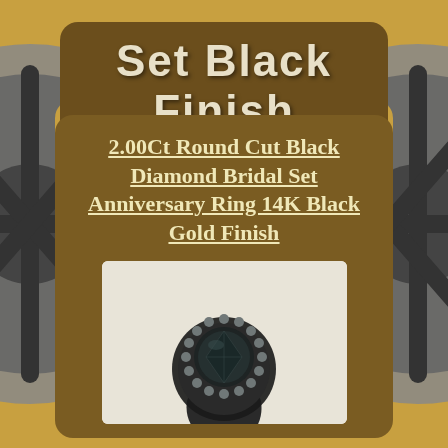Set Black Finish
2.00Ct Round Cut Black Diamond Bridal Set Anniversary Ring 14K Black Gold Finish
[Figure (photo): Photo of a black diamond ring with round cut center stone and halo setting, with pavé-set black diamonds along the band, viewed from above against a light background]